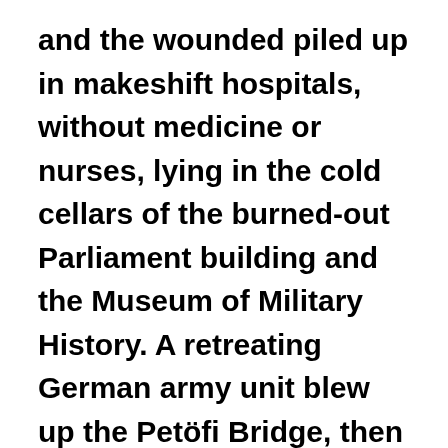and the wounded piled up in makeshift hospitals, without medicine or nurses, lying in the cold cellars of the burned-out Parliament building and the Museum of Military History. A retreating German army unit blew up the Petöfi Bridge, then known as the Horthy Bridge. An Arrow-Cross group advanced into the ghetto and murdered several people they encountered before bein routed by Miksa